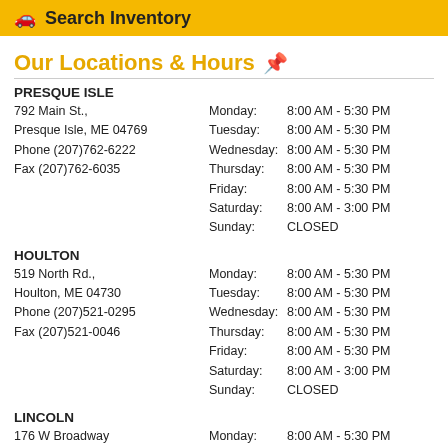Search Inventory
Our Locations & Hours
PRESQUE ISLE
792 Main St.,
Preesque Isle, ME 04769
Phone (207)762-6222
Fax (207)762-6035
Monday: 8:00 AM - 5:30 PM
Tuesday: 8:00 AM - 5:30 PM
Wednesday: 8:00 AM - 5:30 PM
Thursday: 8:00 AM - 5:30 PM
Friday: 8:00 AM - 5:30 PM
Saturday: 8:00 AM - 3:00 PM
Sunday: CLOSED
HOULTON
519 North Rd.,
Houlton, ME 04730
Phone (207)521-0295
Fax (207)521-0046
Monday: 8:00 AM - 5:30 PM
Tuesday: 8:00 AM - 5:30 PM
Wednesday: 8:00 AM - 5:30 PM
Thursday: 8:00 AM - 5:30 PM
Friday: 8:00 AM - 5:30 PM
Saturday: 8:00 AM - 3:00 PM
Sunday: CLOSED
LINCOLN
176 W Broadway
Lincoln, ME 04457
Phone (207)794-2202
Fax (207)794-2232
Monday: 8:00 AM - 5:30 PM
Tuesday: 8:00 AM - 5:30 PM
Wednesday: 8:00 AM - 5:30 PM
Thursday: 8:00 AM - 5:30 PM